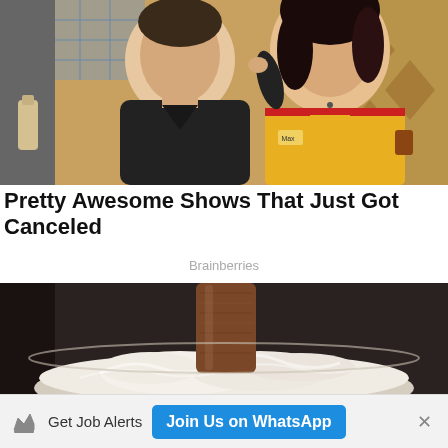[Figure (photo): Two people posing together: a man in a black sweater and a woman in a yellow and red uniform top with dark curly hair, against a colorful background]
Pretty Awesome Shows That Just Got Canceled
Brainberries
[Figure (photo): A chocolate ice cream bar or dessert standing upright in a bowl of whipped cream]
Get Job Alerts  Join Us on WhatsApp  ×